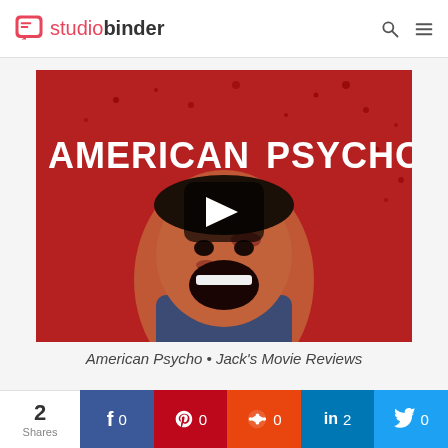studiobinder
[Figure (screenshot): American Psycho movie thumbnail with play button overlay. Red background with man's face covered in blood splatter. Text 'AMERICAN PSYCHO' in white bold letters. Dark semi-transparent play button in center.]
American Psycho • Jack's Movie Reviews
2 Shares — Facebook 0 — Pinterest 0 — Reddit 0 — LinkedIn 2 — Twitter 0